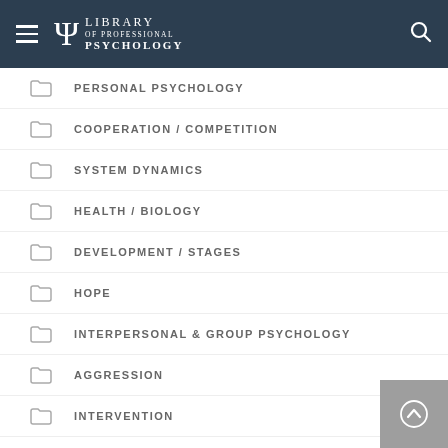Library of Professional Psychology
PERSONAL PSYCHOLOGY
COOPERATION / COMPETITION
SYSTEM DYNAMICS
HEALTH / BIOLOGY
DEVELOPMENT / STAGES
HOPE
INTERPERSONAL & GROUP PSYCHOLOGY
AGGRESSION
INTERVENTION
PERSONALITY